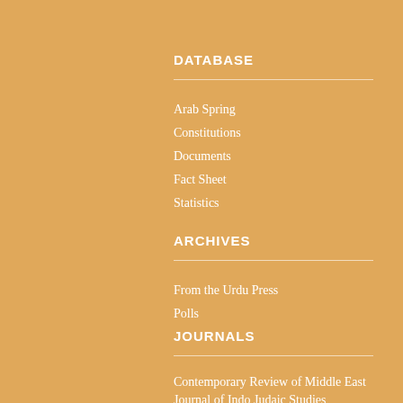DATABASE
Arab Spring
Constitutions
Documents
Fact Sheet
Statistics
ARCHIVES
From the Urdu Press
Polls
JOURNALS
Contemporary Review of Middle East
Journal of Indo Judaic Studies